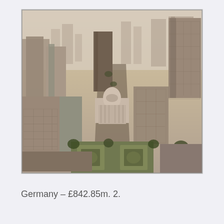[Figure (photo): Aerial black-and-white (sepia-toned) photograph of a dense urban downtown area showing skyscrapers, city blocks, a domed government or civic building in the center, and a park with geometric garden beds in the foreground.]
Germany - £842.85m. 2.